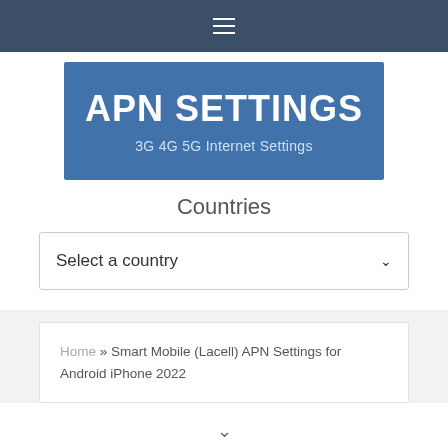≡
APN SETTINGS
3G 4G 5G Internet Settings
Countries
Select a country
Home » Smart Mobile (Lacell) APN Settings for Android iPhone 2022